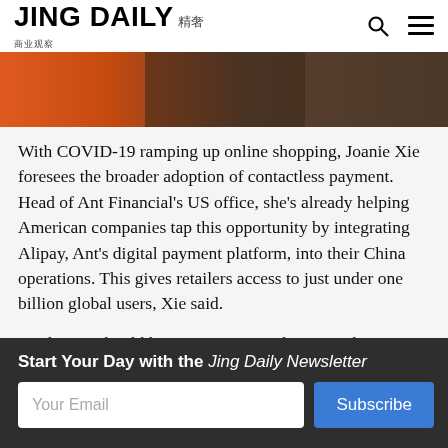JING DAILY 精奢
[Figure (photo): Partial view of a person against an orange background, cropped to show upper body/shoulders area]
With COVID-19 ramping up online shopping, Joanie Xie foresees the broader adoption of contactless payment. Head of Ant Financial's US office, she's already helping American companies tap this opportunity by integrating Alipay, Ant's digital payment platform, into their China operations. This gives retailers access to just under one billion global users, Xie said.
But luxury should know Ant Financial is more than a payment provider. In addition to consumer metrics, the
Start Your Day with the Jing Daily Newsletter
Your Email
Subscribe